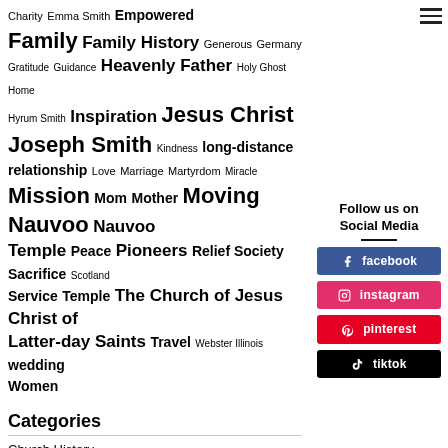[Figure (infographic): Tag cloud with words of varying sizes representing topics: Charity, Emma Smith, Empowered, Family, Family History, Generous, Germany, Gratitude, Guidance, Heavenly Father, Holy Ghost, Home, Hyrum Smith, Inspiration, Jesus Christ, Joseph Smith, Kindness, long-distance relationship, Love, Marriage, Martyrdom, Miracle, Mission, Mom, Mother, Moving, Nauvoo, Nauvoo Temple, Peace, Pioneers, Relief Society, Sacrifice, Scotland, Service, Temple, The Church of Jesus Christ of Latter-day Saints, Travel, Webster Illinois, wedding, Women]
Categories
Church History
Family History
Family Trips
[Figure (infographic): Social media follow sidebar with title 'Follow us on Social Media' and buttons for facebook (blue), instagram (pink/red), pinterest (red), tiktok (black)]